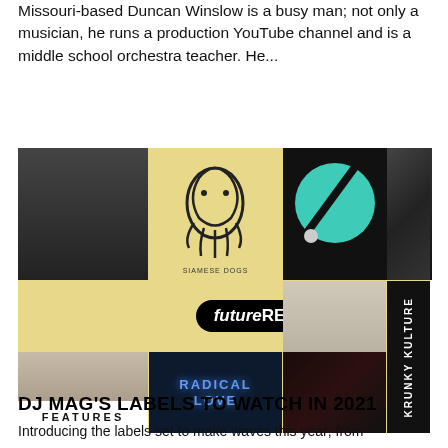Missouri-based Duncan Winslow is a busy man; not only a musician, he runs a production YouTube channel and is a middle school orchestra teacher. He...
[Figure (photo): Collage of music artists and label artwork including a yellow background grid with photos of artists, a snake illustration labeled SIAMESE DOGS, a black square with teal circle, band photos, future RETRO logo, RADICAL LOVE text, and KRUNKY KULTURE vertical text on right side. FEATURES label at bottom left.]
DJ MAG'S LABELS TO WATCH IN 2021
Introducing the labels set to make waves this year; from